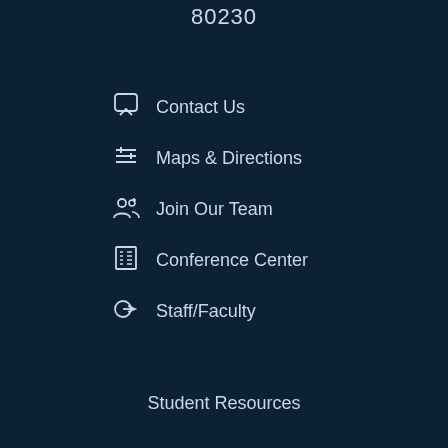80230
Contact Us
Maps & Directions
Join Our Team
Conference Center
Staff/Faculty
Student Resources
Resources
CCCOnline